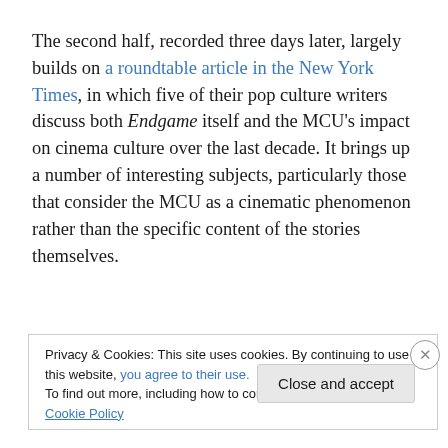The second half, recorded three days later, largely builds on a roundtable article in the New York Times, in which five of their pop culture writers discuss both Endgame itself and the MCU's impact on cinema culture over the last decade. It brings up a number of interesting subjects, particularly those that consider the MCU as a cinematic phenomenon rather than the specific content of the stories themselves.
Privacy & Cookies: This site uses cookies. By continuing to use this website, you agree to their use. To find out more, including how to control cookies, see here: Cookie Policy